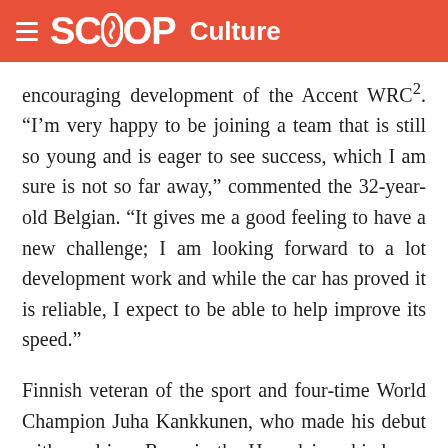SCOOP Culture
encouraging development of the Accent WRC². “I’m very happy to be joining a team that is still so young and is eager to see success, which I am sure is not so far away,” commented the 32-year-old Belgian. “It gives me a good feeling to have a new challenge; I am looking forward to a lot development work and while the car has proved it is reliable, I expect to be able to help improve its speed.”
Finnish veteran of the sport and four-time World Champion Juha Kankkunen, who made his debut with co-driver Repo in the Hyundai on his home event this year, is also looking forward to getting back behind the wheel of an Accent WRC² for the nine gravel events of